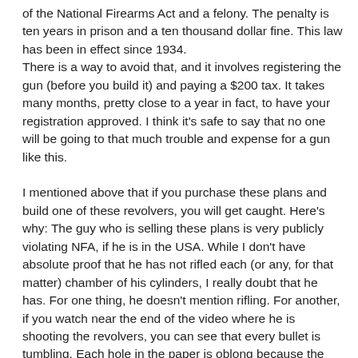of the National Firearms Act and a felony. The penalty is ten years in prison and a ten thousand dollar fine. This law has been in effect since 1934. There is a way to avoid that, and it involves registering the gun (before you build it) and paying a $200 tax. It takes many months, pretty close to a year in fact, to have your registration approved. I think it's safe to say that no one will be going to that much trouble and expense for a gun like this.
I mentioned above that if you purchase these plans and build one of these revolvers, you will get caught. Here's why: The guy who is selling these plans is very publicly violating NFA, if he is in the USA. While I don't have absolute proof that he has not rifled each (or any, for that matter) chamber of his cylinders, I really doubt that he has. For one thing, he doesn't mention rifling. For another, if you watch near the end of the video where he is shooting the revolvers, you can see that every bullet is tumbling. Each hole in the paper is oblong because the bullets are striking every way but dead-on. Since stabilization is the function of rifling, it's pretty obvious that these guns don't have any rifling. The Bureau of Alcohol